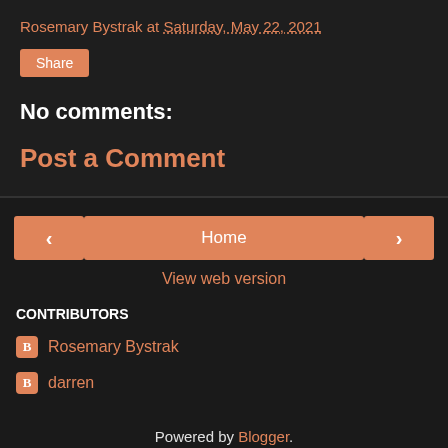Rosemary Bystrak at Saturday, May 22, 2021
Share
No comments:
Post a Comment
< Home >
View web version
CONTRIBUTORS
Rosemary Bystrak
darren
Powered by Blogger.